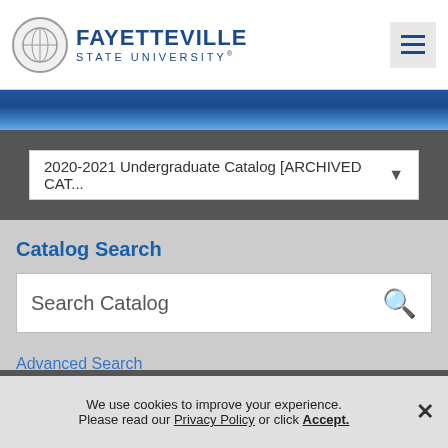Fayetteville State University
2020-2021 Undergraduate Catalog [ARCHIVED CAT...
Catalog Search
Search Catalog
Advanced Search
Catalog Navigation
We use cookies to improve your experience. Please read our Privacy Policy or click Accept.